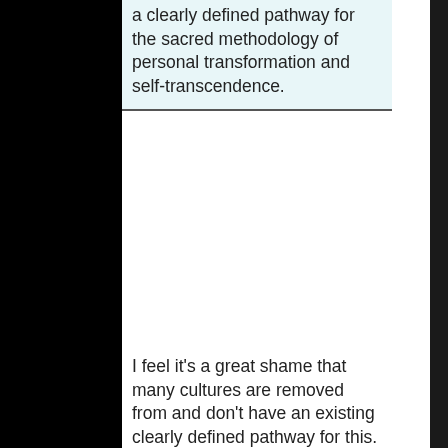a clearly defined pathway for the sacred methodology of personal transformation and self-transcendence.
I feel it's a great shame that many cultures are removed from and don't have an existing clearly defined pathway for this. As a young man, I grew up in the U.K and could have really benefitted from such a pathway alongside the guidance from elders who had